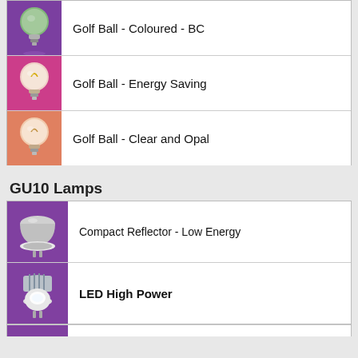[Figure (photo): Green golf ball shaped light bulb on purple background]
Golf Ball - Coloured - BC
[Figure (photo): Clear golf ball shaped light bulb on pink background]
Golf Ball - Energy Saving
[Figure (photo): Clear golf ball shaped light bulb on pink/peach background]
Golf Ball - Clear and Opal
GU10 Lamps
[Figure (photo): Silver compact reflector lamp on purple background]
Compact Reflector - Low Energy
[Figure (photo): LED high power GU10 lamp on purple background]
LED High Power